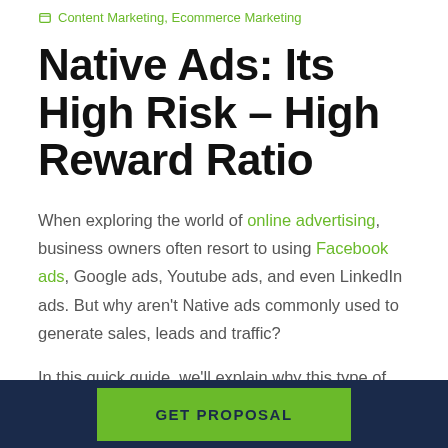Content Marketing, Ecommerce Marketing
Native Ads: Its High Risk – High Reward Ratio
When exploring the world of online advertising, business owners often resort to using Facebook ads, Google ads, Youtube ads, and even LinkedIn ads. But why aren't Native ads commonly used to generate sales, leads and traffic?
In this quick guide, we'll explain why this type of
GET PROPOSAL